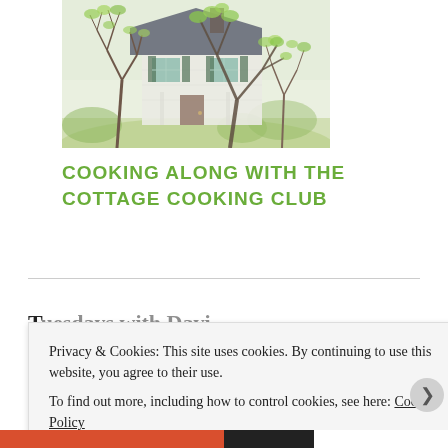[Figure (illustration): Watercolor painting of a cottage house with trees in spring foliage — white house with dark shutters and roof, surrounded by bare-branched trees with fresh green leaves, garden setting]
COOKING ALONG WITH THE COTTAGE COOKING CLUB
Privacy & Cookies: This site uses cookies. By continuing to use this website, you agree to their use.
To find out more, including how to control cookies, see here: Cookie Policy
Close and accept